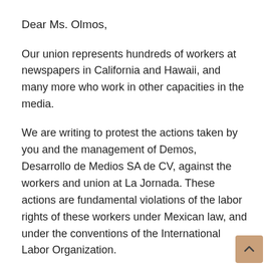Dear Ms. Olmos,
Our union represents hundreds of workers at newspapers in California and Hawaii, and many more who work in other capacities in the media.
We are writing to protest the actions taken by you and the management of Demos, Desarrollo de Medios SA de CV, against the workers and union at La Jornada. These actions are fundamental violations of the labor rights of these workers under Mexican law, and under the conventions of the International Labor Organization.
These actions include the firing of Judith Calderon (33 years seniority), general secretary of the Sindicato Independiente de Trabajadores de La Jornada (Sitraior), the union's secretary of organization, Leonardo Mondra... 22 years seniority), its treasurer, Mario Contreras (32 years seniority), active member Maricela Delgado and others. In